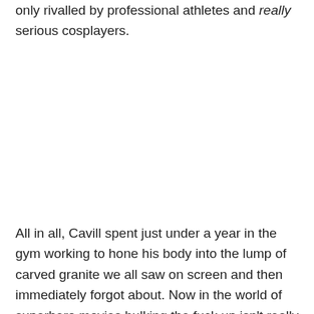only rivalled by professional athletes and really serious cosplayers.
All in all, Cavill spent just under a year in the gym working to hone his body into the lump of carved granite we all saw on screen and then immediately forgot about. Now in the world of superhero movies bulking the fuck up isn't really that